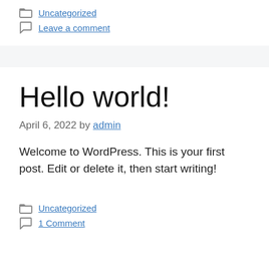Uncategorized
Leave a comment
Hello world!
April 6, 2022 by admin
Welcome to WordPress. This is your first post. Edit or delete it, then start writing!
Uncategorized
1 Comment